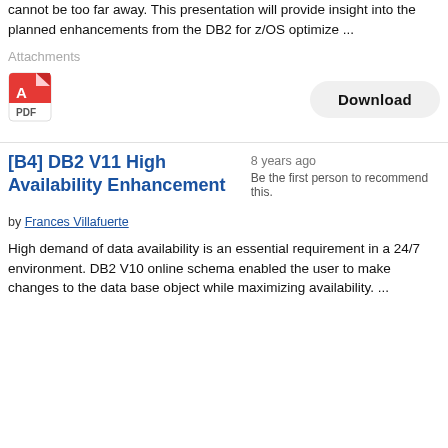cannot be too far away. This presentation will provide insight into the planned enhancements from the DB2 for z/OS optimize ...
Attachments
[Figure (other): PDF file icon (red Adobe Acrobat style icon)]
Download
[B4] DB2 V11 High Availability Enhancement
8 years ago
Be the first person to recommend this.
by Frances Villafuerte
High demand of data availability is an essential requirement in a 24/7 environment. DB2 V10 online schema enabled the user to make changes to the data base object while maximizing availability. ...